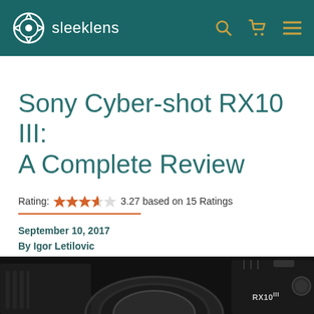sleeklens
Sony Cyber-shot RX10 III: A Complete Review
Rating: 3.27 based on 15 Ratings
September 10, 2017
By Igor Letilovic
[Figure (photo): Sony Cyber-shot RX10 III camera, close-up photo showing the lens and body in dark tones, with RX10 III branding visible.]